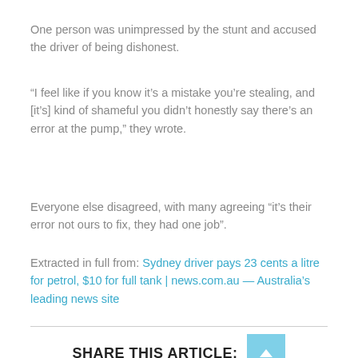One person was unimpressed by the stunt and accused the driver of being dishonest.
“I feel like if you know it’s a mistake you’re stealing, and [it’s] kind of shameful you didn’t honestly say there’s an error at the pump,” they wrote.
Everyone else disagreed, with many agreeing “it’s their error not ours to fix, they had one job”.
Extracted in full from: Sydney driver pays 23 cents a litre for petrol, $10 for full tank | news.com.au — Australia’s leading news site
SHARE THIS ARTICLE: